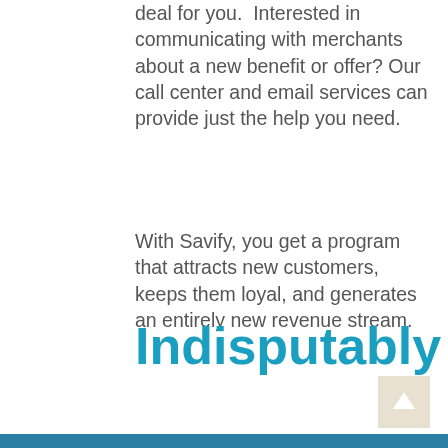deal for you.  Interested in communicating with merchants about a new benefit or offer? Our call center and email services can provide just the help you need.
With Savify, you get a program that attracts new customers, keeps them loyal, and generates an entirely new revenue stream.
Indisputably
[Figure (other): Scroll-to-top button with upward arrow icon on a beige/tan background square]